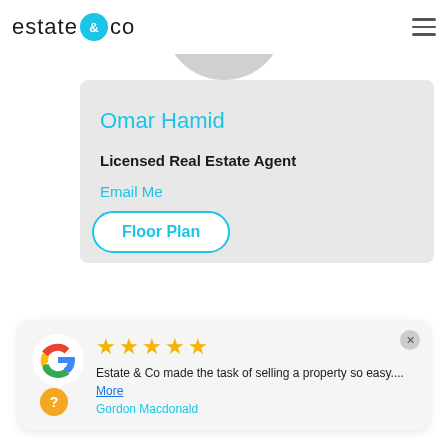[Figure (logo): estate&co logo with teal ampersand badge]
[Figure (photo): Agent profile photo (partially visible, grey circular placeholder)]
Omar Hamid
Licensed Real Estate Agent
Email Me
0423 694 966
Floor Plan
[Figure (other): Google review widget with 5 stars, Google G logo, review text: Estate & Co made the task of selling a property so easy.... More, reviewer: Gordon Macdonald]